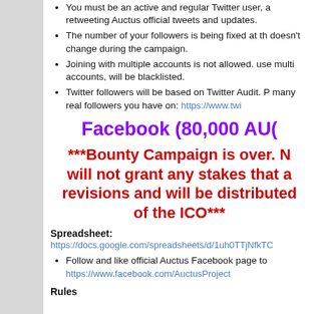You must be an active and regular Twitter user, and retweeting Auctus official tweets and updates.
The number of your followers is being fixed at the doesn't change during the campaign.
Joining with multiple accounts is not allowed. use multi accounts, will be blacklisted.
Twitter followers will be based on Twitter Audit. P many real followers you have on: https://www.twi
Facebook (80,000 AU(
***Bounty Campaign is over. N will not grant any stakes that a revisions and will be distributed of the ICO***
Spreadsheet:
https://docs.google.com/spreadsheets/d/1uh0TTjNfkTC
Follow and like official Auctus Facebook page to https://www.facebook.com/AuctusProject
Rules